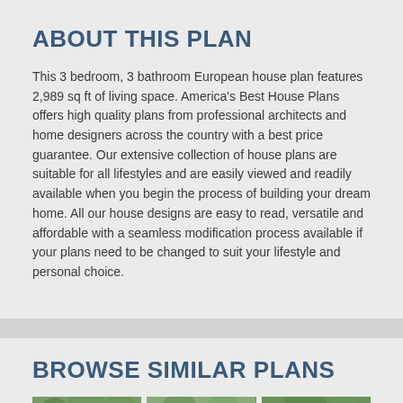ABOUT THIS PLAN
This 3 bedroom, 3 bathroom European house plan features 2,989 sq ft of living space. America's Best House Plans offers high quality plans from professional architects and home designers across the country with a best price guarantee. Our extensive collection of house plans are suitable for all lifestyles and are easily viewed and readily available when you begin the process of building your dream home. All our house designs are easy to read, versatile and affordable with a seamless modification process available if your plans need to be changed to suit your lifestyle and personal choice.
BROWSE SIMILAR PLANS
[Figure (photo): Row of house thumbnail photos partially visible at the bottom of the page]